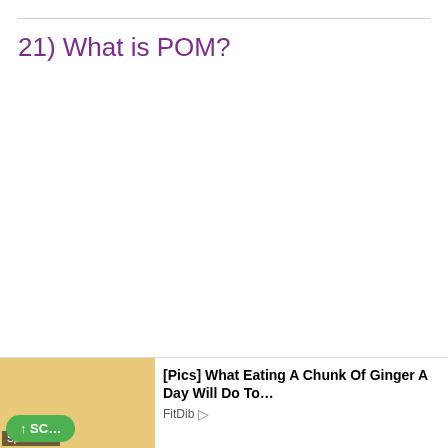21) What is POM?
POM stands for Project Object Model. The pom.xml file contains information of project and project